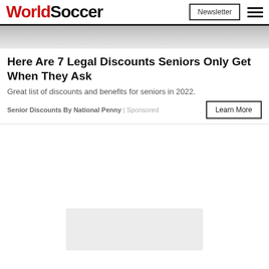WorldSoccer | Newsletter
[Figure (photo): Partial hero image at top of article, showing a light grey/white surface]
Here Are 7 Legal Discounts Seniors Only Get When They Ask
Great list of discounts and benefits for seniors in 2022.
Senior Discounts By National Penny | Sponsored
[Figure (other): White empty advertisement space]
[Figure (other): Light grey advertisement image block at bottom]